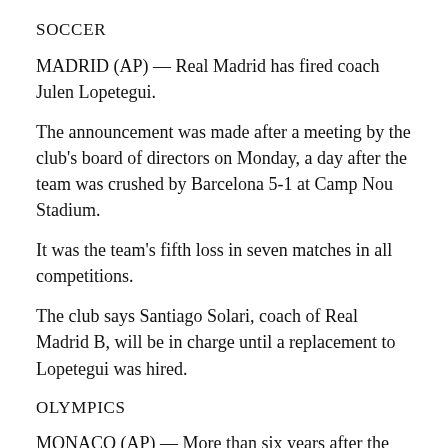SOCCER
MADRID (AP) — Real Madrid has fired coach Julen Lopetegui.
The announcement was made after a meeting by the club's board of directors on Monday, a day after the team was crushed by Barcelona 5-1 at Camp Nou Stadium.
It was the team's fifth loss in seven matches in all competitions.
The club says Santiago Solari, coach of Real Madrid B, will be in charge until a replacement to Lopetegui was hired.
OLYMPICS
MONACO (AP) — More than six years after the London Olympics, the IAAF has provisionally suspended an athlete from Kazakhstan who tested